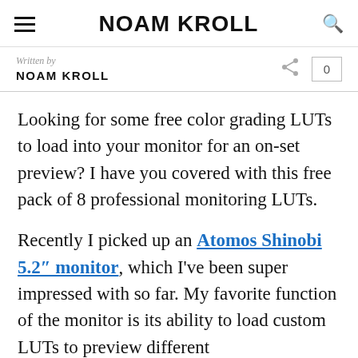NOAM KROLL
Written by
NOAM KROLL
Looking for some free color grading LUTs to load into your monitor for an on-set preview? I have you covered with this free pack of 8 professional monitoring LUTs.
Recently I picked up an Atomos Shinobi 5.2″ monitor, which I've been super impressed with so far. My favorite function of the monitor is its ability to load custom LUTs to preview different